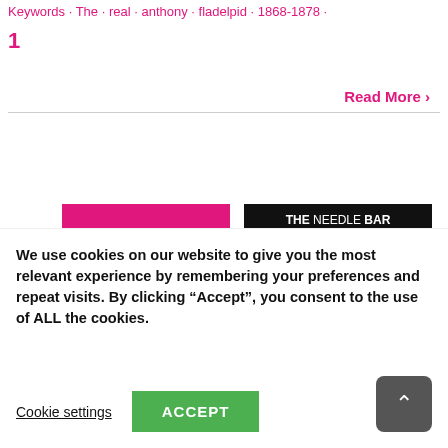Keywords · The · real · anthony · fladelpid · 1868-1878 ·
1
Read More ›
[Figure (illustration): Date block showing '10' and '11, 2021' in white text on magenta/pink background, with a pen/pencil icon below on a light grey background. Next to it is a black and white illustration/newspaper image showing a person with curly hair in front of a bus labeled 'THE NEEDLE BAR', with a caption reading 'Rod Humphris, landlord of The Raven in Bath, who clashed with Nick Hanauer on lockdowns, is taking The Needle Bar Bus around the UK. He and his team, including a film crew, are gathering...']
We use cookies on our website to give you the most relevant experience by remembering your preferences and repeat visits. By clicking “Accept”, you consent to the use of ALL the cookies.
Cookie settings
ACCEPT